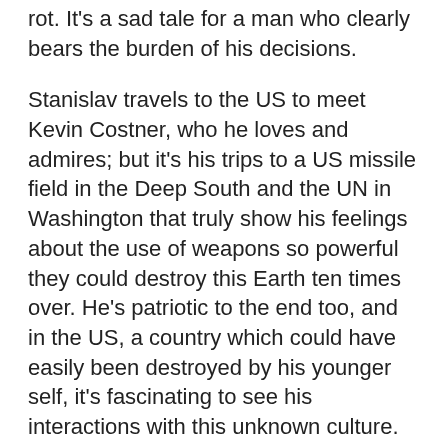rot. It's a sad tale for a man who clearly bears the burden of his decisions.
Stanislav travels to the US to meet Kevin Costner, who he loves and admires; but it's his trips to a US missile field in the Deep South and the UN in Washington that truly show his feelings about the use of weapons so powerful they could destroy this Earth ten times over. He's patriotic to the end too, and in the US, a country which could have easily been destroyed by his younger self, it's fascinating to see his interactions with this unknown culture.
One of the best scenes contains Petrov's interaction with Robert De Niro and Matt Damon. Petrov has no idea who Damon is, asking if 'Demon' is De Niro's son! Petrov wanted to meet De Niro and Costner because he loves their